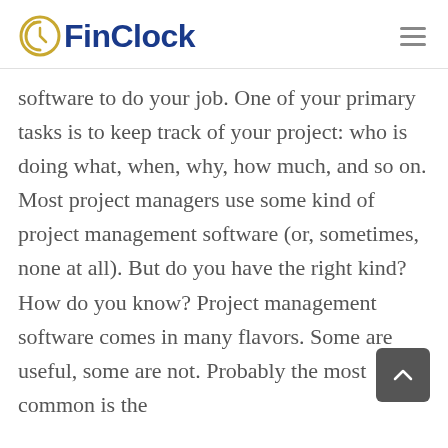FinClock
software to do your job. One of your primary tasks is to keep track of your project: who is doing what, when, why, how much, and so on. Most project managers use some kind of project management software (or, sometimes, none at all). But do you have the right kind? How do you know? Project management software comes in many flavors. Some are useful, some are not. Probably the most common is the